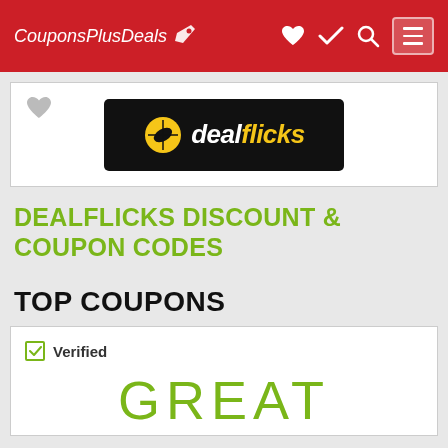CouponsPlusDeals
[Figure (logo): Dealflicks logo — black background with yellow/orange football icon and white bold italic text 'dealflicks']
DEALFLICKS DISCOUNT & COUPON CODES
TOP COUPONS
Verified
GREAT